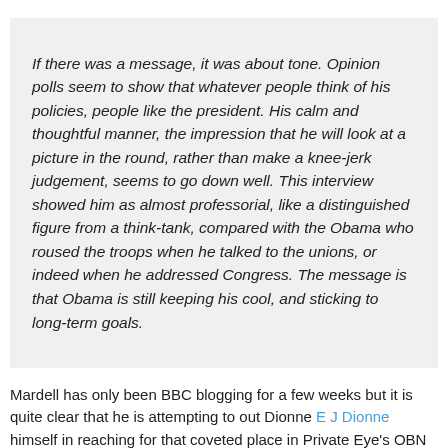If there was a message, it was about tone. Opinion polls seem to show that whatever people think of his policies, people like the president. His calm and thoughtful manner, the impression that he will look at a picture in the round, rather than make a knee-jerk judgement, seems to go down well. This interview showed him as almost professorial, like a distinguished figure from a think-tank, compared with the Obama who roused the troops when he talked to the unions, or indeed when he addressed Congress. The message is that Obama is still keeping his cool, and sticking to long-term goals.
Mardell has only been BBC blogging for a few weeks but it is quite clear that he is attempting to out Dionne E J Dionne himself in reaching for that coveted place in Private Eye's OBN spot. The gospel according to Mardell is crystal clear. Here is a cool,calm, reasonable guy just trying to do his best to keep his fellow Americans healthy by setting up a government controlled insurance option and a handful of wingnuts were dominating the media and drowning out reasonable debate